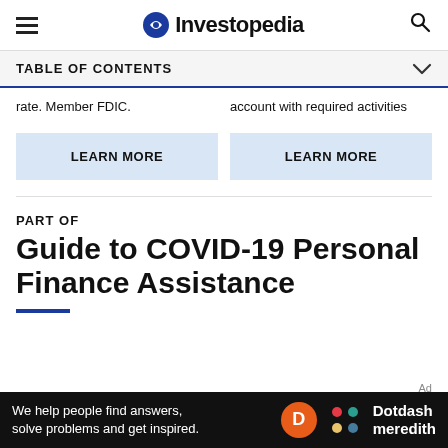Investopedia
TABLE OF CONTENTS
rate. Member FDIC.
account with required activities
LEARN MORE
LEARN MORE
PART OF
Guide to COVID-19 Personal Finance Assistance
Ad
We help people find answers, solve problems and get inspired. Dotdash meredith